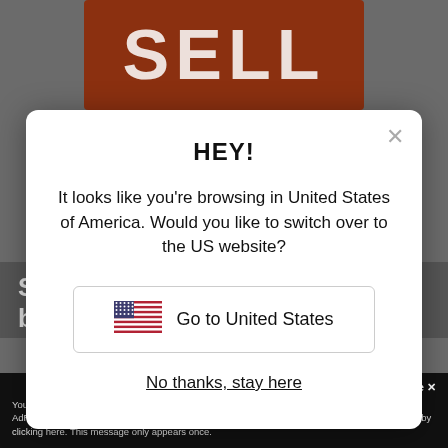[Figure (screenshot): Background showing a partial book cover with red/brown background and large white text 'SELL' visible behind a modal dialog]
HEY!
It looks like you're browsing in United States of America. Would you like to switch over to the US website?
[Figure (illustration): Button with US flag emoji and text 'Go to United States']
No thanks, stay here
Sell Like Crazy shot up from being
Accept and Close ✕
Your browser settings do not allow cross-site tracking for advertising. Click on this page to allow AdRoll to use cross-site tracking to tailor ads to you. Learn more or opt out of this AdRoll tracking by clicking here. This message only appears once.